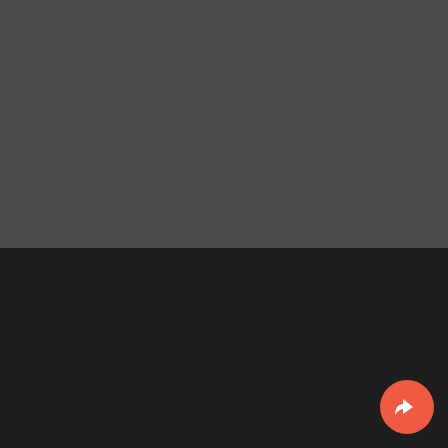[Figure (screenshot): Dark gray top section, appears to be a blank/loading area of a mobile app screen]
Browse
Search
Place Ad
[Figure (other): Circular red/coral floating action button with a white share/forward arrow icon in the bottom right corner]